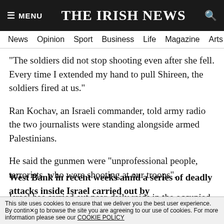≡ MENU  THE IRISH NEWS  🔍
News  Opinion  Sport  Business  Life  Magazine  Arts
“The soldiers did not stop shooting even after she fell. Every time I extended my hand to pull Shireen, the soldiers fired at us.”
Ran Kochav, an Israeli commander, told army radio the two journalists were standing alongside armed Palestinians.
He said the gunmen were “unprofessional people, terrorists, who were shooting at our troops”.
Israel has carried out near-daily raids in the occupied West Bank in recent weeks amid a series of deadly attacks inside Israel carried out by
This site uses cookies to ensure that we deliver you the best user experience. By continuing to browse the site you are agreeing to our use of cookies. For more information please see our COOKIE POLICY